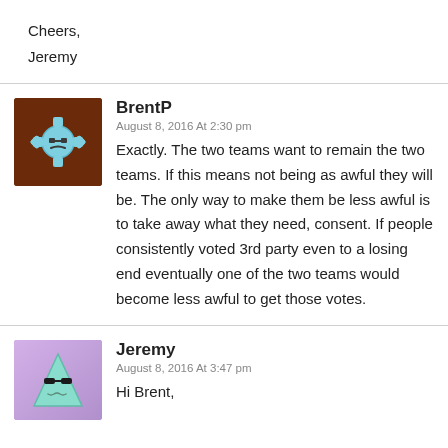Cheers,
Jeremy
BrentP
August 8, 2016 At 2:30 pm
Exactly. The two teams want to remain the two teams. If this means not being as awful they will be. The only way to make them be less awful is to take away what they need, consent. If people consistently voted 3rd party even to a losing end eventually one of the two teams would become less awful to get those votes.
Jeremy
August 8, 2016 At 3:47 pm
Hi Brent,